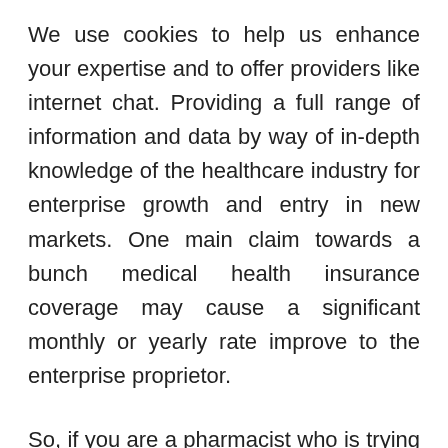We use cookies to help us enhance your expertise and to offer providers like internet chat. Providing a full range of information and data by way of in-depth knowledge of the healthcare industry for enterprise growth and entry in new markets. One main claim towards a bunch medical health insurance coverage may cause a significant monthly or yearly rate improve to the enterprise proprietor.
So, if you are a pharmacist who is trying in direction of beginning a business within the healthcare business, then one among your finest options is to enter the manufacturing of drugs especially if in case you have the capacity to raise the required start – up capital as a result of it is a capital intensive business.